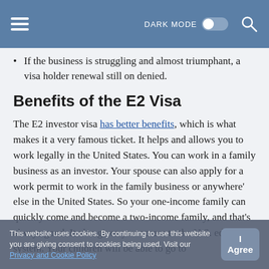DARK MODE [toggle] [search]
If the business is struggling and almost triumphant, a visa holder renewal still on denied.
Benefits of the E2 Visa
The E2 investor visa has better benefits, which is what makes it a very famous ticket. It helps and allows you to work legally in the United States. You can work in a family business as an investor. Your spouse can also apply for a work permit to work in the family business or anywhere' else in the United States. So your one-income family can quickly come and become a two-income family, and that's always good. It also gives you access to the U.S. education system. Your children will be able to go to
This website uses cookies. By continuing to use this website you are giving consent to cookies being used. Visit our Privacy and Cookie Policy